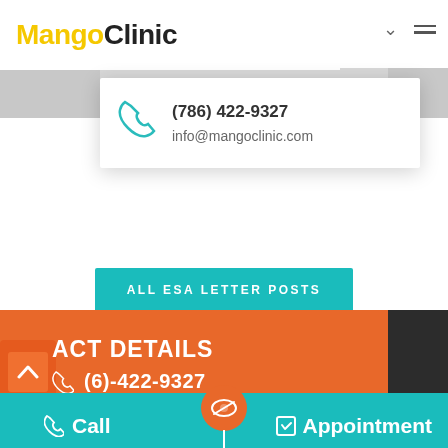[Figure (logo): Mango Clinic logo with Powered by MED Lab subtitle]
[Figure (infographic): Contact card popup with teal phone icon, phone number (786) 422-9327 and email info@mangoclinic.com]
(786) 422-9327
info@mangoclinic.com
ALL ESA LETTER POSTS
ACT DETAILS
(6)-422-9327
Call  Appointment